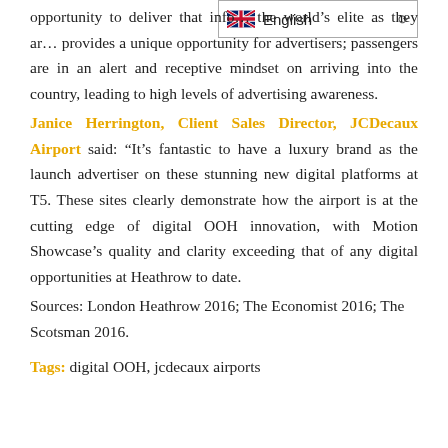opportunity to deliver that into the world's elite as they arrive; provides a unique opportunity for advertisers; passengers are in an alert and receptive mindset on arriving into the country, leading to high levels of advertising awareness.
Janice Herrington, Client Sales Director, JCDecaux Airport said: “It’s fantastic to have a luxury brand as the launch advertiser on these stunning new digital platforms at T5. These sites clearly demonstrate how the airport is at the cutting edge of digital OOH innovation, with Motion Showcase’s quality and clarity exceeding that of any digital opportunities at Heathrow to date.
Sources: London Heathrow 2016; The Economist 2016; The Scotsman 2016.
Tags: digital OOH, jcdecaux airports